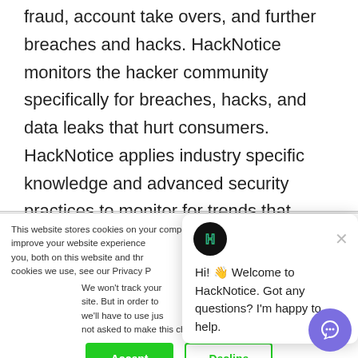fraud, account take overs, and further breaches and hacks. HackNotice monitors the hacker community specifically for breaches, hacks, and data leaks that hurt consumers. HackNotice applies industry specific knowledge and advanced security practices to monitor for trends that indicate breaches, hacks, and exposed digital identities.
This website stores cookies on your computer. These cookies are used to improve your website experience and provide more personalized services to you, both on this website and through other media. To find out more about the cookies we use, see our Privacy Policy.
We won't track your information when you visit our site. But in order to comply with your preferences, we'll have to use just one tiny cookie so that you're not asked to make this choice again.
[Figure (screenshot): Chat popup from HackNotice with logo, close button, and greeting message: Hi! Welcome to HackNotice. Got any questions? I'm happy to help.]
Accept
Decline